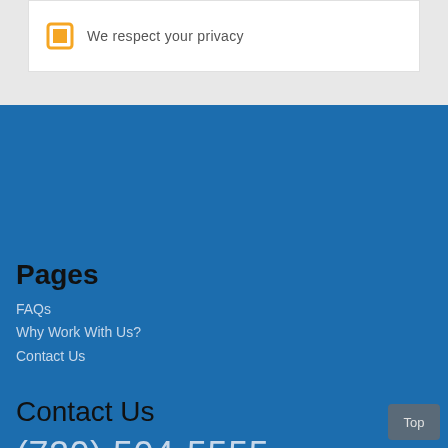We respect your privacy
Pages
FAQs
Why Work With Us?
Contact Us
Contact Us
(720) 504-5555
bnickel@visionequitygroup.com
Top